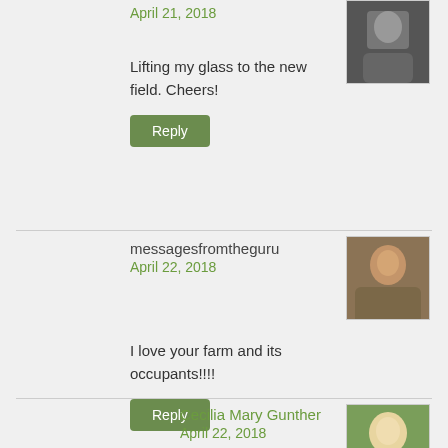April 21, 2018
Lifting my glass to the new field. Cheers!
Reply
messagesfromtheguru
April 22, 2018
I love your farm and its occupants!!!!
Reply
Cecilia Mary Gunther
April 22, 2018
That is great!
Reply